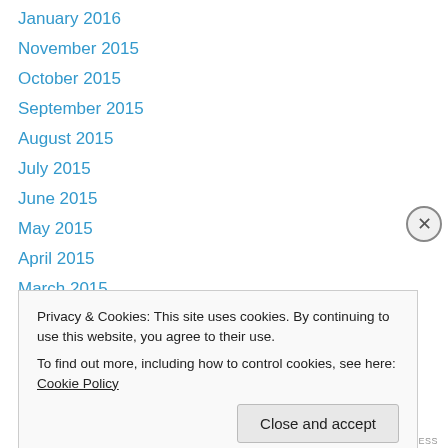January 2016
November 2015
October 2015
September 2015
August 2015
July 2015
June 2015
May 2015
April 2015
March 2015
February 2015
January 2015
December 2014
Privacy & Cookies: This site uses cookies. By continuing to use this website, you agree to their use.
To find out more, including how to control cookies, see here: Cookie Policy
MOREPRESS